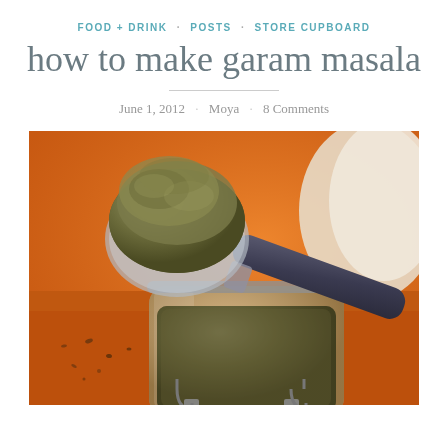FOOD + DRINK · POSTS · STORE CUPBOARD
how to make garam masala
June 1, 2012 · Moya · 8 Comments
[Figure (photo): Close-up photo of a measuring spoon heaped with garam masala spice blend, resting on an open glass jar filled with the same dark brown-green spice mix, on an orange wooden surface.]